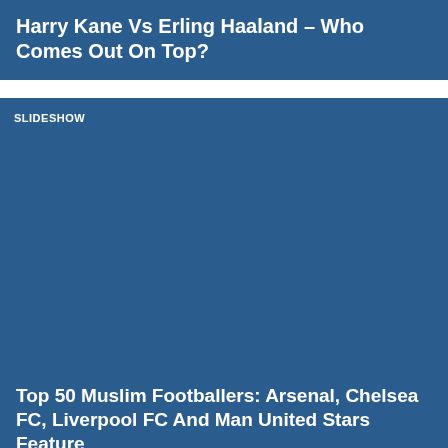Harry Kane Vs Erling Haaland – Who Comes Out On Top?
SLIDESHOW
[Figure (photo): Slideshow image area — large blue placeholder panel]
Top 50 Muslim Footballers: Arsenal, Chelsea FC, Liverpool FC And Man United Stars Feature